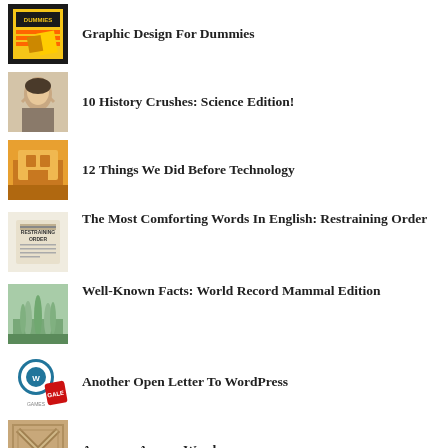Graphic Design For Dummies
10 History Crushes: Science Edition!
12 Things We Did Before Technology
The Most Comforting Words In English: Restraining Order
Well-Known Facts: World Record Mammal Edition
Another Open Letter To WordPress
Awesome Arcane Words
10 Love Songs About Inanimate Objects